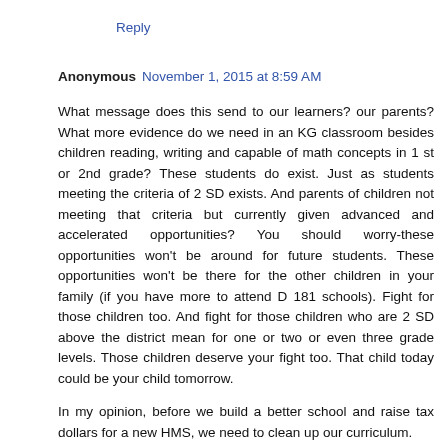Reply
Anonymous  November 1, 2015 at 8:59 AM
What message does this send to our learners? our parents? What more evidence do we need in an KG classroom besides children reading, writing and capable of math concepts in 1 st or 2nd grade? These students do exist. Just as students meeting the criteria of 2 SD exists. And parents of children not meeting that criteria but currently given advanced and accelerated opportunities? You should worry-these opportunities won't be around for future students. These opportunities won't be there for the other children in your family (if you have more to attend D 181 schools). Fight for those children too. And fight for those children who are 2 SD above the district mean for one or two or even three grade levels. Those children deserve your fight too. That child today could be your child tomorrow.
In my opinion, before we build a better school and raise tax dollars for a new HMS, we need to clean up our curriculum.